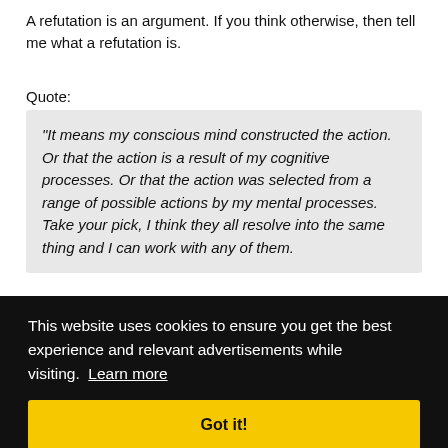A refutation is an argument. If you think otherwise, then tell me what a refutation is.
Quote:
"It means my conscious mind constructed the action. Or that the action is a result of my cognitive processes. Or that the action was selected from a range of possible actions by my mental processes. Take your pick, I think they all resolve into the same thing and I can work with any of them.
The fact that my conscious mind caused me to take an action... [partially obscured] ...us ...s do ...y the
[Figure (screenshot): Cookie consent banner: black background with white text 'This website uses cookies to ensure you get the best experience and relevant advertisements while visiting. Learn more' and a yellow 'Got it!' button]
actions aren't determined by me, therefore I can't make choices."